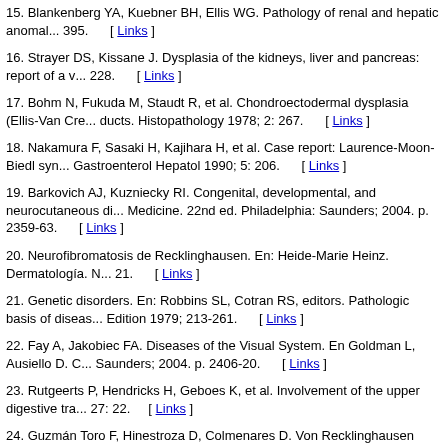15. Blankenberg YA, Kuebner BH, Ellis WG. Pathology of renal and hepatic anomal... 395. [ Links ]
16. Strayer DS, Kissane J. Dysplasia of the kidneys, liver and pancreas: report of a v... 228. [ Links ]
17. Bohm N, Fukuda M, Staudt R, et al. Chondroectodermal dysplasia (Ellis-Van Cre... ducts. Histopathology 1978; 2: 267. [ Links ]
18. Nakamura F, Sasaki H, Kajihara H, et al. Case report: Laurence-Moon-Biedl syn... Gastroenterol Hepatol 1990; 5: 206. [ Links ]
19. Barkovich AJ, Kuzniecky RI. Congenital, developmental, and neurocutaneous di... Medicine. 22nd ed. Philadelphia: Saunders; 2004. p. 2359-63. [ Links ]
20. Neurofibromatosis de Recklinghausen. En: Heide-Marie Heinz. Dermatología. N... 21. [ Links ]
21. Genetic disorders. En: Robbins SL, Cotran RS, editors. Pathologic basis of diseas... Edition 1979; 213-261. [ Links ]
22. Fay A, Jakobiec FA. Diseases of the Visual System. En Goldman L, Ausiello D. C... Saunders; 2004. p. 2406-20. [ Links ]
23. Rutgeerts P, Hendricks H, Geboes K, et al. Involvement of the upper digestive tra... 27: 22. [ Links ]
24. Guzmán Toro F, Hinestroza D, Colmenares D. Von Recklinghausen disease and h... 6. [ Links ]